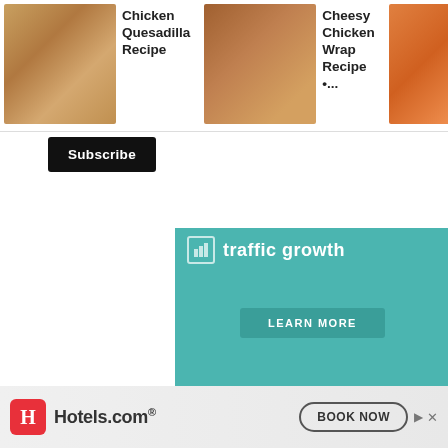[Figure (screenshot): Top navigation bar with three recipe card thumbnails: Chicken Quesadilla Recipe, Cheesy Chicken Wrap Recipe •..., One Pot Chees> Chicken...]
[Figure (screenshot): Black Subscribe button below recipe cards]
[Figure (screenshot): Teal advertisement banner showing 'traffic growth' text and LEARN MORE button]
9)Spread the filling over the chapati
[Figure (screenshot): Right-side floating controls: upvote chevron button, vote count 57, heart/like button, and orange search button]
[Figure (photo): Food photo showing chapati/flatbread with filling on a wooden surface]
[Figure (screenshot): Hotels.com advertisement banner at the bottom with logo and BOOK NOW button]